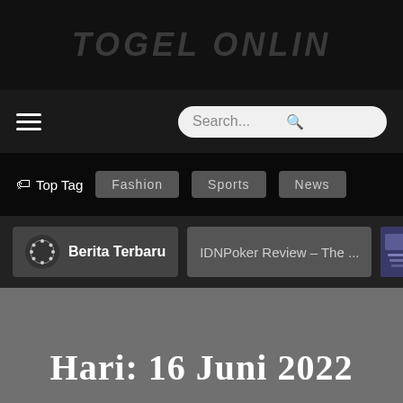TOGEL ONLINE
[Figure (screenshot): Navigation bar with hamburger menu icon on left and search box on right]
Top Tag  Fashion  Sports  News
Berita Terbaru   IDNPoker Review – The ...
Hari: 16 Juni 2022